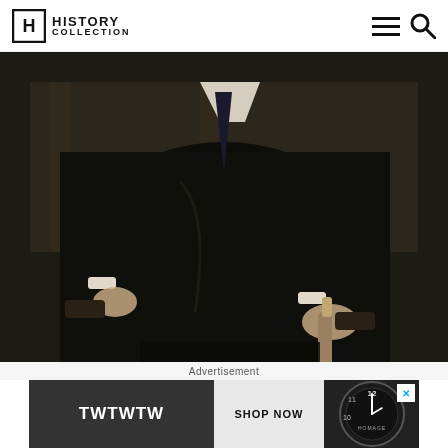History Collection
[Figure (illustration): Oil painting portrait of a man in a dark suit seated in a chair, holding a cane, with his face cut off at the top of the frame. Dark background with wood paneling visible.]
Advertisement
[Figure (screenshot): Advertisement banner: TWTWTW | SHOP NOW | watch face image with HOMAGE branding. Close button (X) in top right corner.]